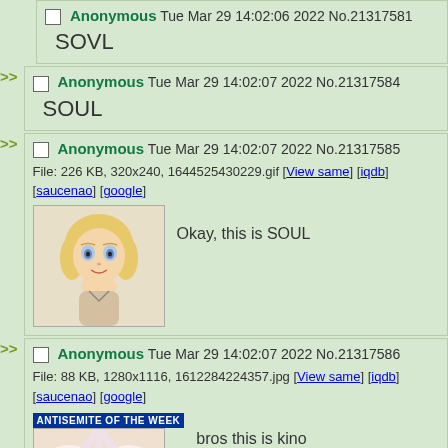>> Anonymous Tue Mar 29 14:02:06 2022 No.21317581
SOVL
>> Anonymous Tue Mar 29 14:02:07 2022 No.21317584
SOUL
>> Anonymous Tue Mar 29 14:02:07 2022 No.21317585
File: 226 KB, 320x240, 1644525430229.gif [View same] [iqdb] [saucenao] [google]
Okay, this is SOUL
>> Anonymous Tue Mar 29 14:02:07 2022 No.21317586
File: 88 KB, 1280x1116, 1612284224357.jpg [View same] [iqdb] [saucenao] [google]
bros this is kino